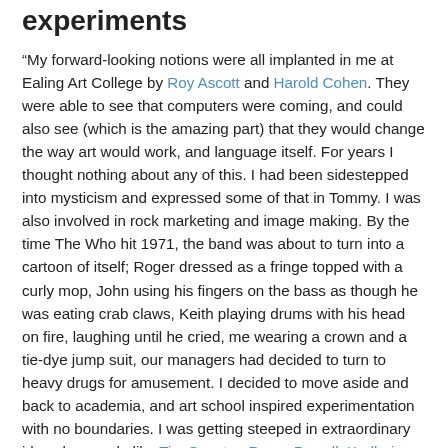experiments
“My forward-looking notions were all implanted in me at Ealing Art College by Roy Ascott and Harold Cohen. They were able to see that computers were coming, and could also see (which is the amazing part) that they would change the way art would work, and language itself. For years I thought nothing about any of this. I had been sidestepped into mysticism and expressed some of that in Tommy. I was also involved in rock marketing and image making. By the time The Who hit 1971, the band was about to turn into a cartoon of itself; Roger dressed as a fringe topped with a curly mop, John using his fingers on the bass as though he was eating crab claws, Keith playing drums with his head on fire, laughing until he cried, me wearing a crown and a tie-dye jump suit, our managers had decided to turn to heavy drugs for amusement. I decided to move aside and back to academia, and art school inspired experimentation with no boundaries. I was getting steeped in extraordinary ideas by people like Tim Souster, Roger Powell, Karlheinz Stockhausen, and others. I was always trying to come up some new way to process sound that would take me away from the traditional processors used in studios. I quickly found that one of the principles of electronic music was its reproduction through reprocessing systems — “myriad” speaker arrays, or swept filters.